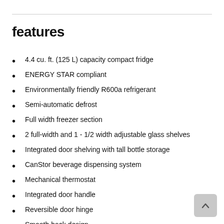features
4.4 cu. ft. (125 L) capacity compact fridge
ENERGY STAR compliant
Environmentally friendly R600a refrigerant
Semi-automatic defrost
Full width freezer section
2 full-width and 1 - 1/2 width adjustable glass shelves
Integrated door shelving with tall bottle storage
CanStor beverage dispensing system
Mechanical thermostat
Integrated door handle
Reversible door hinge
Smooth back design
18 months parts and labor coverage